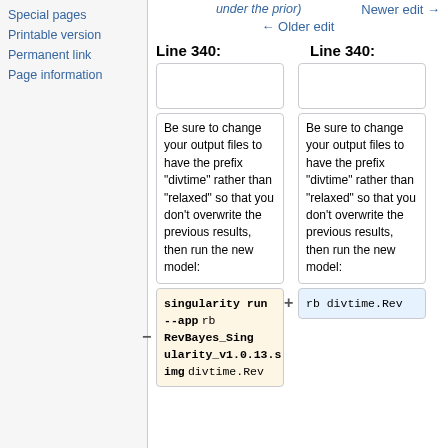Special pages
Printable version
Permanent link
Page information
under the prior)
← Older edit
Newer edit →
Line 340:    Line 340:
Be sure to change your output files to have the prefix "divtime" rather than "relaxed" so that you don't overwrite the previous results, then run the new model:
Be sure to change your output files to have the prefix "divtime" rather than "relaxed" so that you don't overwrite the previous results, then run the new model:
singularity run --app rb RevBayes_Singularity_v1.0.13.s img divtime.Rev
rb divtime.Rev